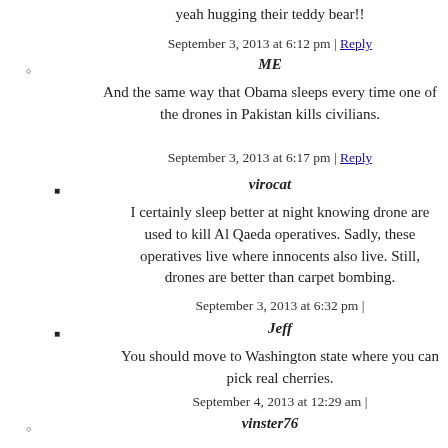yeah hugging their teddy bear!!
September 3, 2013 at 6:12 pm | Reply
ME
And the same way that Obama sleeps every time one of the drones in Pakistan kills civilians.
September 3, 2013 at 6:17 pm | Reply
virocat
I certainly sleep better at night knowing drone are used to kill Al Qaeda operatives. Sadly, these operatives live where innocents also live. Still, drones are better than carpet bombing.
September 3, 2013 at 6:32 pm |
Jeff
You should move to Washington state where you can pick real cherries.
September 4, 2013 at 12:29 am |
vinster76